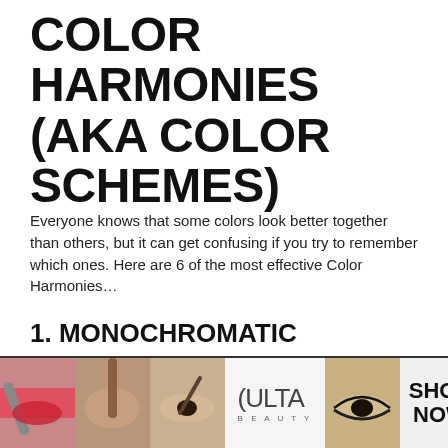COLOR HARMONIES (AKA COLOR SCHEMES)
Everyone knows that some colors look better together than others, but it can get confusing if you try to remember which ones. Here are 6 of the most effective Color Harmonies…
1. MONOCHROMATIC
[Figure (other): Half of a color wheel showing monochromatic color scheme in red/pink tones, with a bold red wedge section highlighted in the center top, surrounded by lighter pink and nude tones on both sides.]
[Figure (photo): Advertisement banner for ULTA Beauty showing makeup imagery: red lips with brush, makeup brush close-up, eye with makeup brush, ULTA Beauty logo, eye with dramatic liner, and SHOP NOW call to action button.]